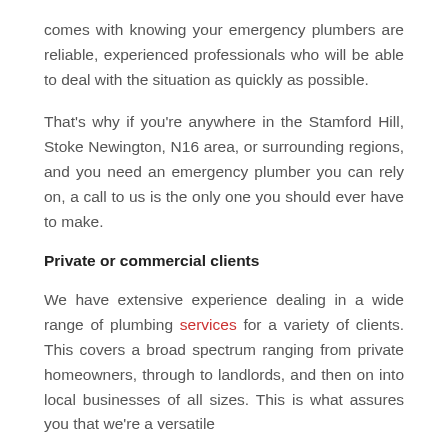comes with knowing your emergency plumbers are reliable, experienced professionals who will be able to deal with the situation as quickly as possible.
That's why if you're anywhere in the Stamford Hill, Stoke Newington, N16 area, or surrounding regions, and you need an emergency plumber you can rely on, a call to us is the only one you should ever have to make.
Private or commercial clients
We have extensive experience dealing in a wide range of plumbing services for a variety of clients. This covers a broad spectrum ranging from private homeowners, through to landlords, and then on into local businesses of all sizes. This is what assures you that we're a versatile